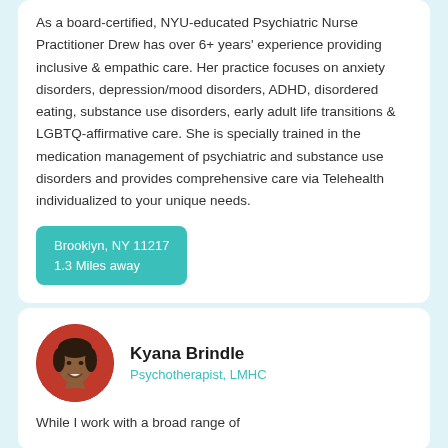As a board-certified, NYU-educated Psychiatric Nurse Practitioner Drew has over 6+ years' experience providing inclusive & empathic care. Her practice focuses on anxiety disorders, depression/mood disorders, ADHD, disordered eating, substance use disorders, early adult life transitions & LGBTQ-affirmative care. She is specially trained in the medication management of psychiatric and substance use disorders and provides comprehensive care via Telehealth individualized to your unique needs.
Brooklyn, NY 11217
1.3 Miles away
Kyana Brindle
Psychotherapist, LMHC
While I work with a broad range of